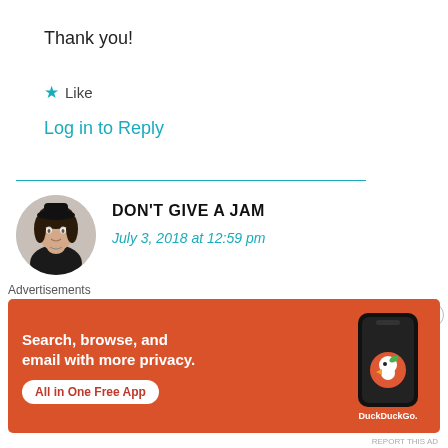Thank you!
★ Like
Log in to Reply
DON'T GIVE A JAM
July 3, 2018 at 12:59 pm
those shorts are amazing, loveeee the orange & yellow florall!
[Figure (photo): Circular avatar photo of a person with dark hair wearing a black outfit and black hat]
Advertisements
[Figure (screenshot): DuckDuckGo advertisement banner: Search, browse, and email with more privacy. All in One Free App. Shows a smartphone with DuckDuckGo logo.]